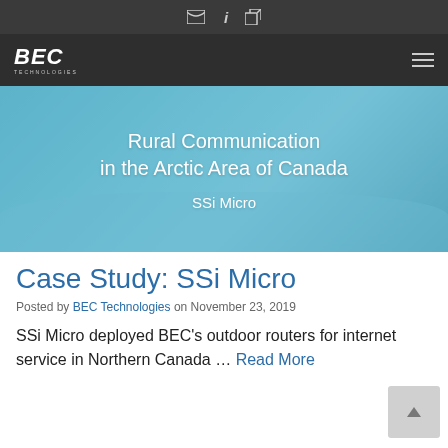BEC Technologies — browser navigation bar
[Figure (screenshot): BEC Technologies navigation bar with logo and hamburger menu on dark background]
[Figure (photo): Hero banner image showing Arctic/winter scene with text 'Rural Communication in the Arctic Area of Canada' and 'SSi Micro' overlaid in white on a blue-tinted background]
Case Study: SSi Micro
Posted by BEC Technologies on November 23, 2019
SSi Micro deployed BEC's outdoor routers for internet service in Northern Canada … Read More